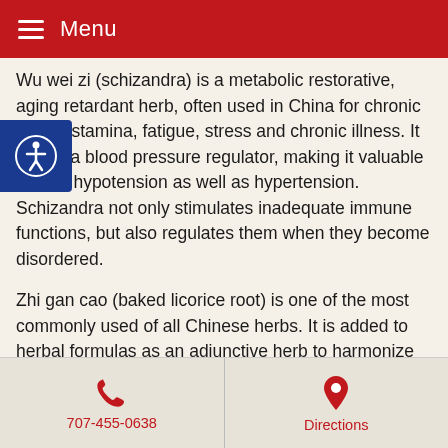Menu
Wu wei zi (schizandra) is a metabolic restorative, aging retardant herb, often used in China for chronic loss of stamina, fatigue, stress and chronic illness. It is also a blood pressure regulator, making it valuable in both hypotension as well as hypertension. Schizandra not only stimulates inadequate immune functions, but also regulates them when they become disordered.
Zhi gan cao (baked licorice root) is one of the most commonly used of all Chinese herbs. It is added to herbal formulas as an adjunctive herb to harmonize the entire formula and goes into all 12 meridians in the body. It moderates the possible harshness of other herbs in a formula. It can also be used for its Qi (energy) tonic properties. It is used for patterns with an irregular or intermittent pulse, or palpitations. Glycyrrhizin,
707-455-0638   Directions